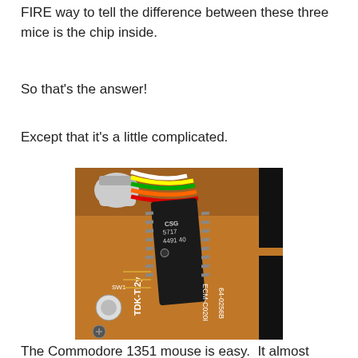FIRE way to tell the difference between these three mice is the chip inside.
So that's the answer!
Except that it's a little complicated.
[Figure (photo): Close-up photograph of a circuit board showing a DIP chip labeled 'TDK-TI2y' and 'CSG 5717 4491 40', with colorful wires (white, yellow, green, orange, red) in the upper left, a button/switch labeled 'SW1', and PCB text 'ECM-C020I 64-0256B'. The board is brown/orange colored.]
The Commodore 1351 mouse is easy.  It almost always has